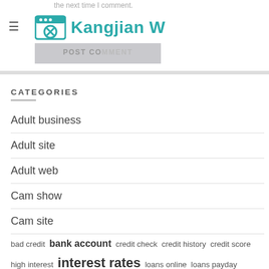the next time I comment.
[Figure (logo): Kangjian W website logo with teal browser/gear icon and teal text 'Kangjian W']
POST COMMENT
CATEGORIES
Adult business
Adult site
Adult web
Cam show
Cam site
bad credit  bank account  credit check  credit history  credit score  high interest  interest rates  loans online  loans payday